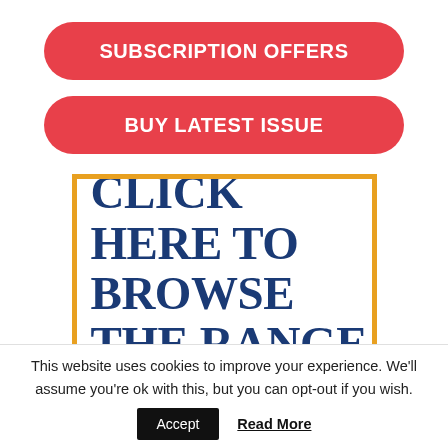SUBSCRIPTION OFFERS
BUY LATEST ISSUE
[Figure (other): Orange-bordered box containing bold dark blue text reading CLICK HERE TO BROWSE THE RANGE]
This website uses cookies to improve your experience. We'll assume you're ok with this, but you can opt-out if you wish.
Accept
Read More